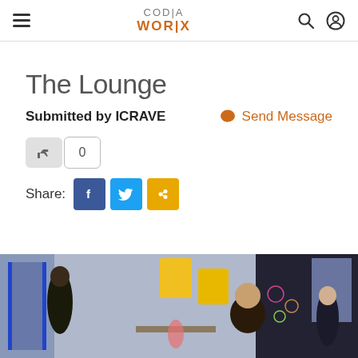CODIAWorX header with hamburger menu, logo, search and profile icons
The Lounge
Submitted by ICRAVE
Send Message
0
Share:
[Figure (photo): Interior photo of a lounge area with people sitting, IV drip stands visible, yellow accent wall panels, dark wall with decorative elements, and a bald young person smiling in the foreground.]